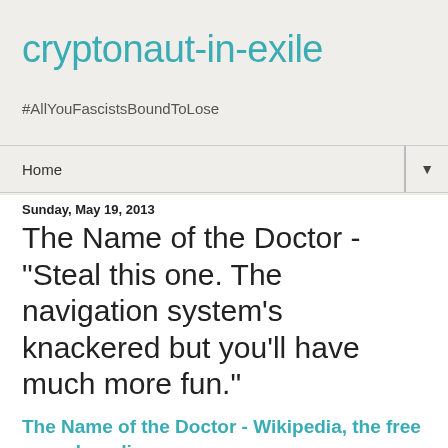cryptonaut-in-exile
#AllYouFascistsBoundToLose
Home ▼
Sunday, May 19, 2013
The Name of the Doctor - "Steal this one. The navigation system's knackered but you'll have much more fun."
The Name of the Doctor - Wikipedia, the free encyclopedia
Series 7, Story 13 (Overall Series Story #239) | Previous - Next | Index